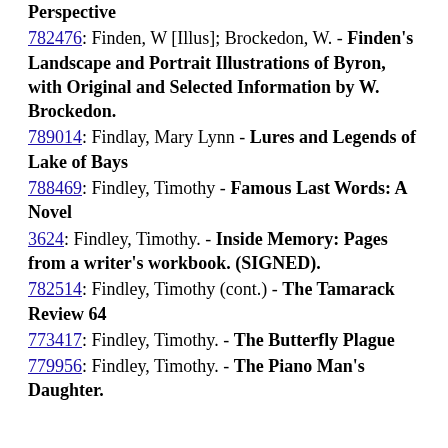Perspective
782476: Finden, W [Illus]; Brockedon, W. - Finden's Landscape and Portrait Illustrations of Byron, with Original and Selected Information by W. Brockedon.
789014: Findlay, Mary Lynn - Lures and Legends of Lake of Bays
788469: Findley, Timothy - Famous Last Words: A Novel
3624: Findley, Timothy. - Inside Memory: Pages from a writer's workbook. (SIGNED).
782514: Findley, Timothy (cont.) - The Tamarack Review 64
773417: Findley, Timothy. - The Butterfly Plague
779956: Findley, Timothy. - The Piano Man's Daughter.